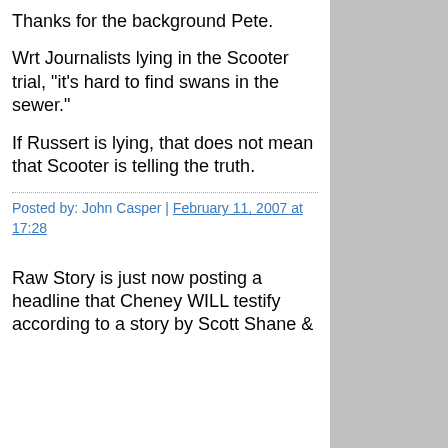Thanks for the background Pete.
Wrt Journalists lying in the Scooter trial, "it's hard to find swans in the sewer."
If Russert is lying, that does not mean that Scooter is telling the truth.
Posted by: John Casper | February 11, 2007 at 17:28
Raw Story is just now posting a headline that Cheney WILL testify according to a story by Scott Shane &